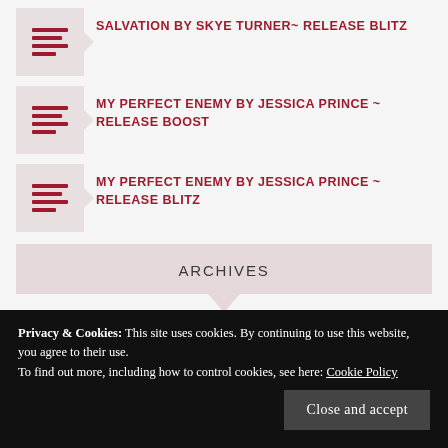SALVATION BY SKYE TURNER~ RELEASE BLITZ
MY PERFECT ENEMY BY JESSICA PRINCE ~ RELEASE BOOST
MY PERFECT ENEMY BY JESSICA PRINCE ~ RELEASE BLITZ
ARCHIVES
Select Month
Privacy & Cookies: This site uses cookies. By continuing to use this website, you agree to their use.
To find out more, including how to control cookies, see here: Cookie Policy
Close and accept